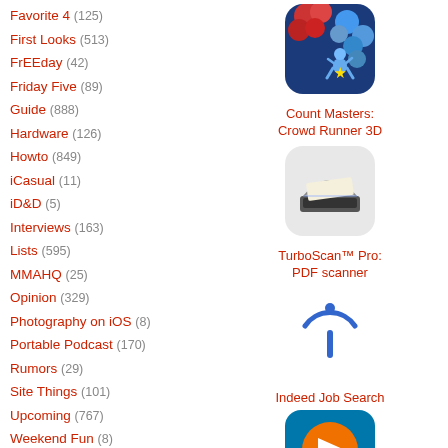Favorite 4 (125)
First Looks (513)
FrEEday (42)
Friday Five (89)
Guide (888)
Hardware (126)
Howto (849)
iCasual (11)
iD&D (5)
Interviews (163)
Lists (595)
MMAHQ (25)
Opinion (329)
Photography on iOS (8)
Portable Podcast (170)
Rumors (29)
Site Things (101)
Upcoming (767)
Weekend Fun (8)
Weekly Roundup (231)
Reviews (10807)
Hardware Reviews (110)
iPad Apps and Games (6292)
[Figure (illustration): Count Masters: Crowd Runner 3D app icon - colorful 3D figures]
Count Masters: Crowd Runner 3D
[Figure (illustration): TurboScan Pro: PDF scanner app icon - scanner device]
TurboScan™ Pro: PDF scanner
[Figure (illustration): Indeed Job Search app icon - blue arc with dot]
Indeed Job Search
[Figure (illustration): PNC Mobile app icon - teal square with orange triangle logo and PNC text]
PNC Mobile